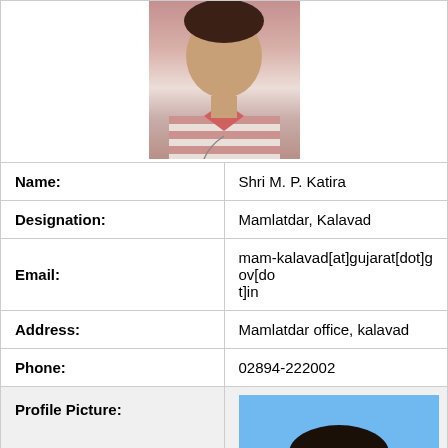[Figure (photo): Top partial photo of a man wearing a striped pink and white polo shirt, shown from shoulders up, partially cropped at top]
| Field | Value |
| --- | --- |
| Name: | Shri M. P. Katira |
| Designation: | Mamlatdar, Kalavad |
| Email: | mam-kalavad[at]gujarat[dot]gov[dot]in |
| Address: | Mamlatdar office, kalavad |
| Phone: | 02894-222002 |
| Profile Picture: | (photo of official) |
[Figure (photo): Profile photo of a middle-aged Indian man with a mustache wearing a light-colored shirt, against a blue background]